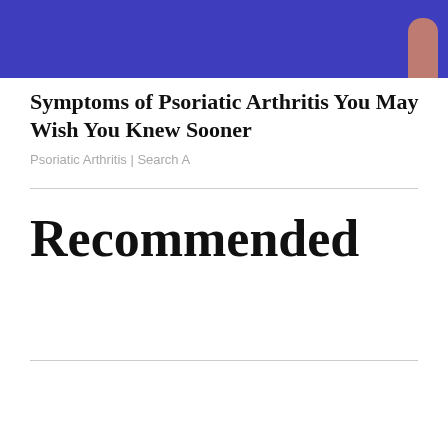[Figure (photo): Photo of a person wearing blue/purple leggings or pants, with a hand visible at the right edge. Cropped to show lower body only.]
Symptoms of Psoriatic Arthritis You May Wish You Knew Sooner
Psoriatic Arthritis | Search A
Recommended